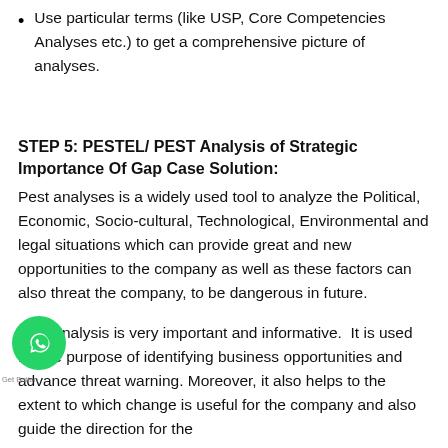Use particular terms (like USP, Core Competencies Analyses etc.) to get a comprehensive picture of analyses.
STEP 5: PESTEL/ PEST Analysis of Strategic Importance Of Gap Case Solution:
Pest analyses is a widely used tool to analyze the Political, Economic, Socio-cultural, Technological, Environmental and legal situations which can provide great and new opportunities to the company as well as these factors can also threat the company, to be dangerous in future.
Pest analysis is very important and informative.  It is used for the purpose of identifying business opportunities and advance threat warning. Moreover, it also helps to the extent to which change is useful for the company and also guide the direction for the